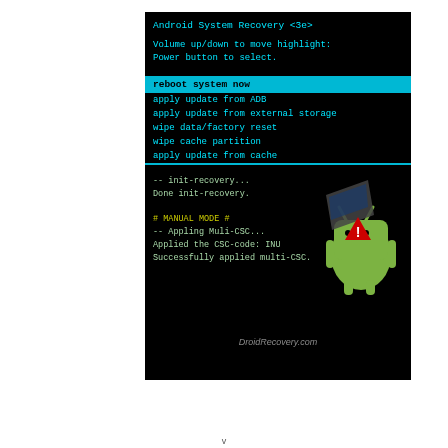[Figure (screenshot): Android System Recovery <3e> screen showing recovery menu with options: reboot system now (highlighted), apply update from ADB, apply update from external storage, wipe data/factory reset, wipe cache partition, apply update from cache. Below is an Android robot mascot with a red warning triangle. Log text shows init-recovery, MANUAL MODE, CSC code application. Watermark: DroidRecovery.com]
v